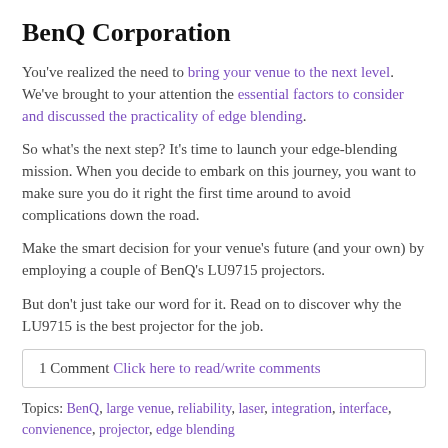BenQ Corporation
You've realized the need to bring your venue to the next level. We've brought to your attention the essential factors to consider and discussed the practicality of edge blending.
So what's the next step? It's time to launch your edge-blending mission. When you decide to embark on this journey, you want to make sure you do it right the first time around to avoid complications down the road.
Make the smart decision for your venue's future (and your own) by employing a couple of BenQ’s LU9715 projectors.
But don’t just take our word for it. Read on to discover why the LU9715 is the best projector for the job.
1 Comment Click here to read/write comments
Topics: BenQ, large venue, reliability, laser, integration, interface, convienence, projector, edge blending